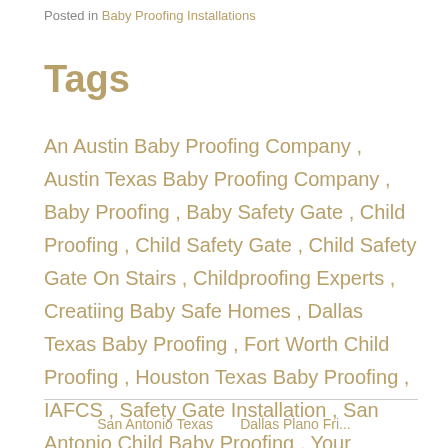Posted in Baby Proofing Installations
Tags
An Austin Baby Proofing Company , Austin Texas Baby Proofing Company , Baby Proofing , Baby Safety Gate , Child Proofing , Child Safety Gate , Child Safety Gate On Stairs , Childproofing Experts , Creatiing Baby Safe Homes , Dallas Texas Baby Proofing , Fort Worth Child Proofing , Houston Texas Baby Proofing , IAFCS , Safety Gate Installation , San Antonio Child Baby Proofing , Your Precious Baby Protectors
San Antonio Texas     Dallas Plano Fri...